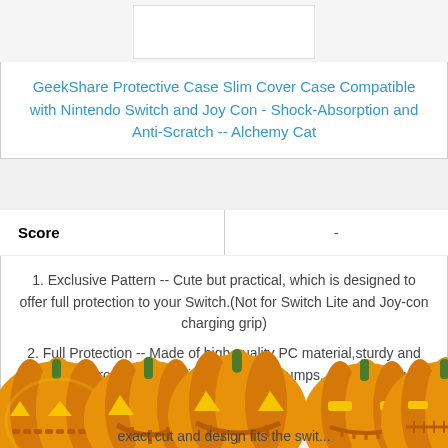[Figure (other): Top image area (product image, partially cropped/white)]
GeekShare Protective Case Slim Cover Case Compatible with Nintendo Switch and Joy Con - Shock-Absorption and Anti-Scratch -- Alchemy Cat
| Score | - |
| --- | --- |
1. Exclusive Pattern -- Cute but practical, which is designed to offer full protection to your Switch.(Not for Switch Lite and Joy-con charging grip)
2. Full Protection -- Made of high quality PC material,sturdy and wearable, protect your Switch from daily bumps, scratches, dust and
exact cut and design fits the swit...
[Figure (illustration): Row of five carved Halloween jack-o'-lantern pumpkins overlaid at the bottom of the page]